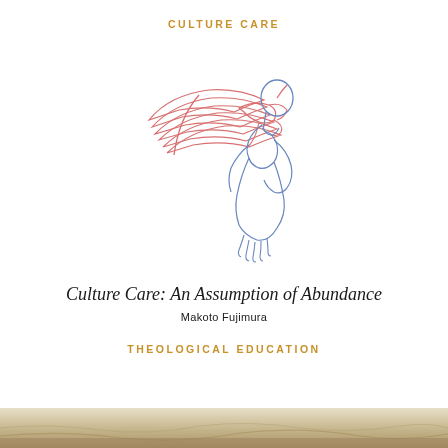CULTURE CARE
[Figure (illustration): Line drawing illustration of a person kneeling and writing in a book. The book and hands are drawn in red/pink lines, while the figure of the person is drawn in blue lines. The person appears to be bent over, writing intently.]
Culture Care: An Assumption of Abundance
Makoto Fujimura
THEOLOGICAL EDUCATION
[Figure (photo): Partial photograph at bottom of page showing a textured landscape or surface with muted tan, beige, and brown tones.]